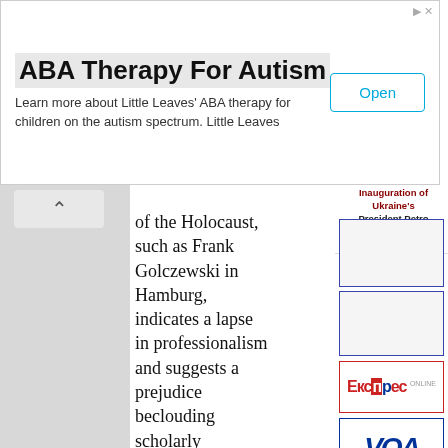[Figure (screenshot): Advertisement banner for ABA Therapy For Autism by Little Leaves with an Open button]
of the Holocaust, such as Frank Golczewski in Hamburg, indicates a lapse in professionalism and suggests a prejudice beclouding scholarly objectivity. Certainly, this incident has not contributed positively to Yad Vashem's efforts to promote Holocaust awareness in Ukraine.
Inauguration of Ukraine's President Petro Poroshenko, June 7, 2014
[Figure (screenshot): Right sidebar with news images and logos including Експрес Online and VOA]
[Figure (logo): Експрес Online logo]
[Figure (logo): VOA (Voice of America) logo]